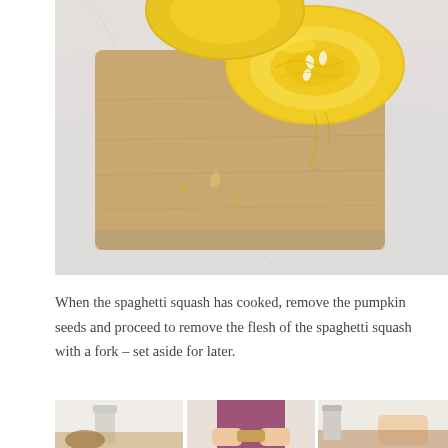[Figure (photo): A spaghetti squash cut in half placed on a wooden cutting board on a marble surface. The bright yellow flesh and seeds are visible.]
When the spaghetti squash has cooked, remove the pumpkin seeds and proceed to remove the flesh of the spaghetti squash with a fork – set aside for later.
[Figure (photo): Three side-by-side photos showing steps of a cooking process, with hands working with ingredients.]